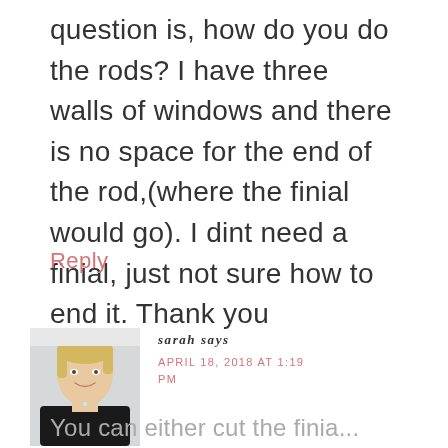question is, how do you do the rods? I have three walls of windows and there is no space for the end of the rod,(where the finial would go). I dint need a finial, just not sure how to end it. Thank you
Reply
[Figure (photo): Photo of a blonde woman wearing a black jacket, smiling, against a light background]
sarah says
APRIL 18, 2018 AT 1:19 PM
You can either cut the finia...